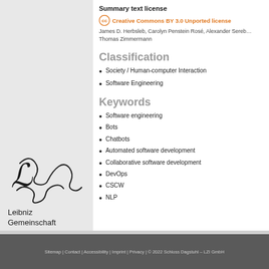Summary text license
Creative Commons BY 3.0 Unported license
James D. Herbsleb, Carolyn Penstein Rosé, Alexander Sereb… Thomas Zimmermann
Classification
Society / Human-computer Interaction
Software Engineering
Keywords
Software engineering
Bots
Chatbots
Automated software development
Collaborative software development
DevOps
CSCW
NLP
[Figure (logo): Leibniz Gemeinschaft logo with handwritten-style script and text]
Sitemap | Contact | Accessibility | Imprint | Privacy | © 2022 Schloss Dagstuhl – LZI GmbH